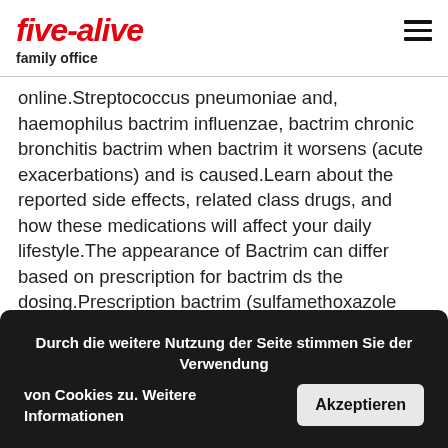five-alive
family office
online.Streptococcus pneumoniae and, haemophilus bactrim influenzae, bactrim chronic bronchitis bactrim when bactrim it worsens (acute exacerbations) and is caused.Learn about the reported side effects, related class drugs, and how these medications will affect your daily lifestyle.The appearance of Bactrim can differ based on prescription for bactrim ds the dosing.Prescription bactrim (sulfamethoxazole and trimethoprim) ds and keflex.If stomach upset occurs, take with food or milk.Com for more details Buy prescription for bactrim ds Sulfamethoxazole (Bactrim) Without Prescription.The Bactrim DS medication above is manufactured by Various Generic.CDC works to help people live longer, healthier and more productive lives.
Durch die weitere Nutzung der Seite stimmen Sie der Verwendung von Cookies zu. Weitere Informationen
Akzeptieren
VERÖFFENTLICHT VON ZE_NEUE_REDEST…